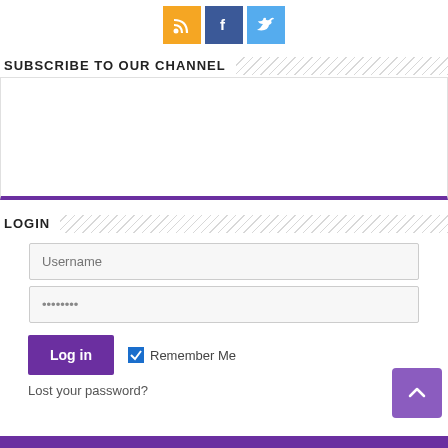[Figure (illustration): Three social media icon buttons: RSS (yellow/orange), Facebook (blue), Twitter (light blue)]
SUBSCRIBE TO OUR CHANNEL
[Figure (other): Empty subscribe/embed box with a purple bottom border]
LOGIN
Username
••••••••
Log in
Remember Me
Lost your password?